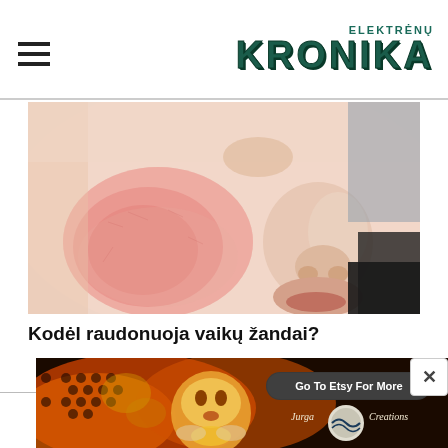ELEKTRĖNŲ KRONIKA
[Figure (photo): Close-up photo of a child's face showing a red rash/redness on the cheek, near the nose area. The skin shows a circular reddened area characteristic of a skin condition.]
Kodėl raudonuoja vaikų žandai?
[Figure (photo): Advertisement banner for Jurga Creations on Etsy, featuring colorful artwork with a face surrounded by honeycomb pattern and floral/fire motifs in orange and golden tones. Text reads 'Go To Etsy For More' and 'Jurga Creations'.]